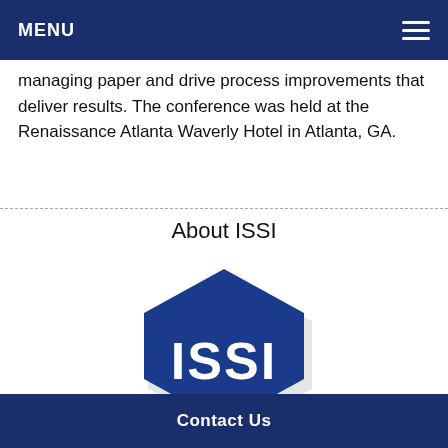MENU
managing paper and drive process improvements that deliver results. The conference was held at the Renaissance Atlanta Waverly Hotel in Atlanta, GA.
About ISSI
[Figure (logo): ISSI hexagon logo — dark blue hexagon shape with white text 'ISSI' centered inside, with a slight drop shadow]
Contact Us